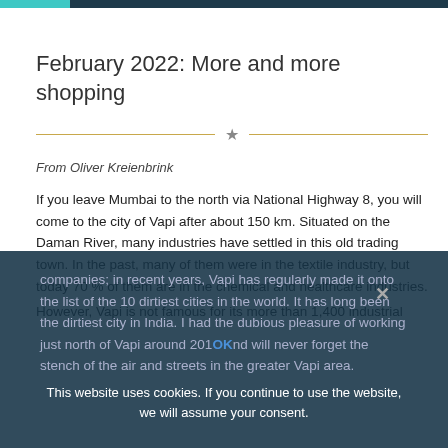February 2022: More and more shopping
From Oliver Kreienbrink
If you leave Mumbai to the north via National Highway 8, you will come to the city of Vapi after about 150 km. Situated on the Daman River, many industries have settled in this old trading town. In the past, many of them were in the textile industry, but today 70 % of them are in the chemical and healthcare industries.
However, Vapi is not famous for its more than 1,400 industrial companies; in recent years, Vapi has regularly made it onto the list of the 10 dirtiest cities in the world. It has long been the dirtiest city in India. I had the dubious pleasure of working just north of Vapi around 2010 and will never forget the stench of the air and streets in the greater Vapi area.
This website uses cookies. If you continue to use the website, we will assume your consent.